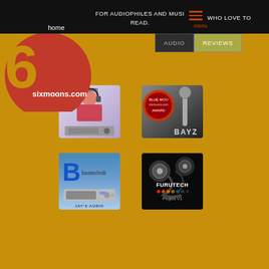For audiophiles and musicians who love to read.
home
menu
[Figure (logo): sixmoons.com logo with large red circle and golden numeral 6]
AUDIO   REVIEWS
[Figure (photo): Pro iDSD advertisement showing a person with headphones and an audio device]
[Figure (photo): BAYZ Audio advertisement with Blue Moon Award badge and speaker/microphone product]
[Figure (photo): Beatechnik advertisement with B logo and Jay's Audio device]
[Figure (photo): Furutech Project V1 cable advertisement showing audio cables on dark background]